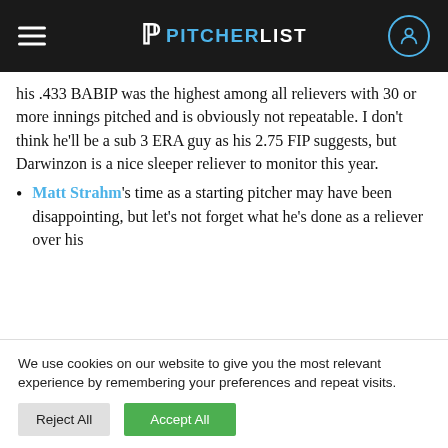PITCHERLIST
his .433 BABIP was the highest among all relievers with 30 or more innings pitched and is obviously not repeatable. I don't think he'll be a sub 3 ERA guy as his 2.75 FIP suggests, but Darwinzon is a nice sleeper reliever to monitor this year.
Matt Strahm's time as a starting pitcher may have been disappointing, but let's not forget what he's done as a reliever over his
We use cookies on our website to give you the most relevant experience by remembering your preferences and repeat visits.